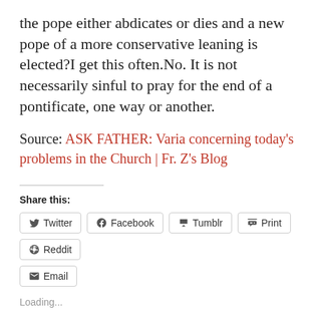the pope either abdicates or dies and a new pope of a more conservative leaning is elected?I get this often.No.  It is not necessarily sinful to pray for the end of a pontificate, one way or another.
Source: ASK FATHER: Varia concerning today's problems in the Church | Fr. Z's Blog
Share this:
Twitter Facebook Tumblr Print Reddit Email
Loading...